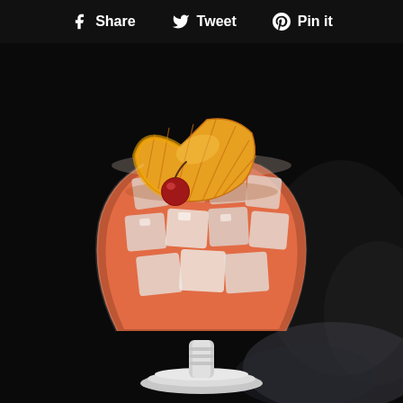f Share  Tweet  Pin it
[Figure (photo): A cocktail drink in a footed goblet glass filled with ice cubes and a pink/red liquid, garnished with an orange slice and a maraschino cherry on top, set against a dark black background with a misty smoky effect.]